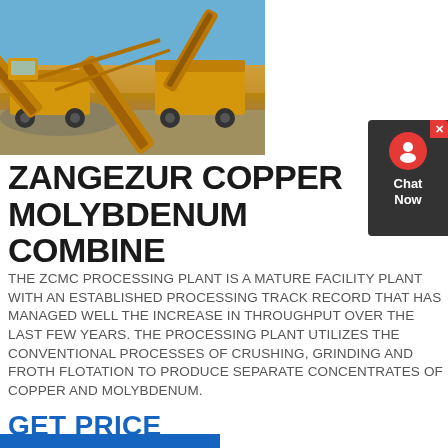[Figure (photo): Large yellow mining/crushing machinery on a construction site with blue sky background]
ZANGEZUR COPPER MOLYBDENUM COMBINE
THE ZCMC PROCESSING PLANT IS A MATURE FACILITY PLANT WITH AN ESTABLISHED PROCESSING TRACK RECORD THAT HAS MANAGED WELL THE INCREASE IN THROUGHPUT OVER THE LAST FEW YEARS. THE PROCESSING PLANT UTILIZES THE CONVENTIONAL PROCESSES OF CRUSHING, GRINDING AND FROTH FLOTATION TO PRODUCE SEPARATE CONCENTRATES OF COPPER AND MOLYBDENUM.
GET PRICE